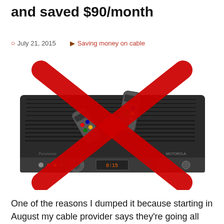and saved $90/month
July 21, 2015    Saving money on cable
[Figure (photo): A Motorola cable box/DVR with two remote controls on top, overlaid with a large red X indicating rejection or removal of the device.]
One of the reasons I dumped it because starting in August my cable provider says they're going all digital with the